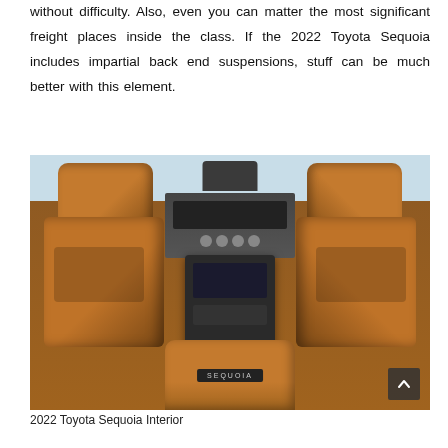without difficulty. Also, even you can matter the most significant freight places inside the class. If the 2022 Toyota Sequoia includes impartial back end suspensions, stuff can be much better with this element.
[Figure (photo): Interior photo of a 2022 Toyota Sequoia showing tan/brown leather seats viewed from the third row, with the backs of the second-row seats visible, center console with screens and controls, and the dashboard in the background. A SEQUOIA badge is visible on the center armrest.]
2022 Toyota Sequoia Interior